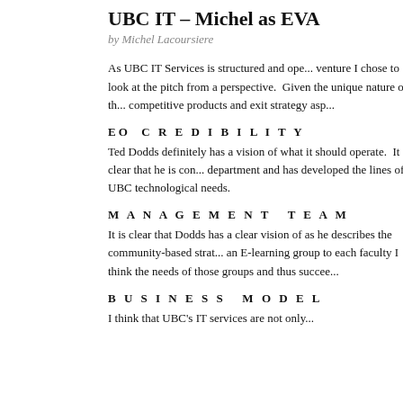UBC IT – Michel as EVA
by Michel Lacoursiere
As UBC IT Services is structured and ope... venture I chose to look at the pitch from a perspective.  Given the unique nature of th... competitive products and exit strategy asp...
EO CREDIBILITY
Ted Dodds definitely has a vision of what it should operate.  It is clear that he is con... department and has developed the lines of... UBC technological needs.
MANAGEMENT TEAM
It is clear that Dodds has a clear vision of as he describes the community-based strat... an E-learning group to each faculty I think the needs of those groups and thus succee...
BUSINESS MODEL
I think that UBC's IT services are not only...